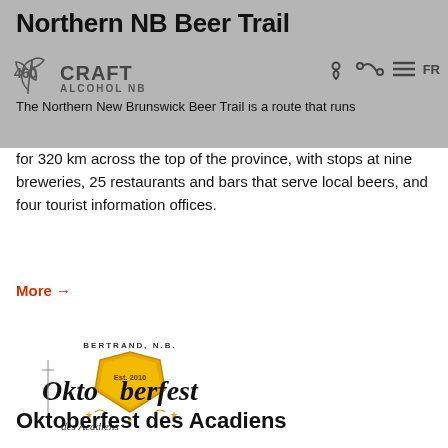Northern NB Beer Trail
[Figure (logo): Craft Alcohol NB logo with stylized plant/hop icon and text 'CRAFT ALCOHOL NB']
The Northern New Brunswick Beer Trail is a route that runs for 320 km across the top of the province, with stops at nine breweries, 25 restaurants and bars that serve local beers, and four tourist information offices.
More →
[Figure (logo): Oktoberfest des Acadiens logo — circular badge with BERTRAND, N.B., Est. 2010, golden shield, decorative wheat, stars, and gothic Oktoberfest lettering with 'des Acadiens' script below]
Oktoberfest des Acadiens